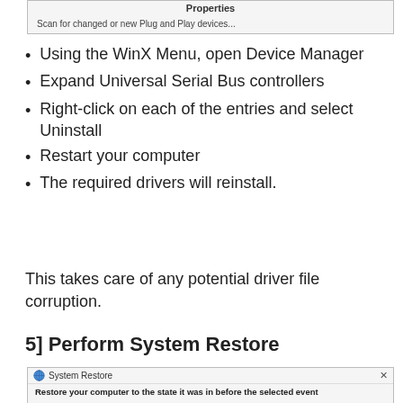[Figure (screenshot): Screenshot showing 'Properties' title and 'Scan for changed or new Plug and Play...' menu item]
Using the WinX Menu, open Device Manager
Expand Universal Serial Bus controllers
Right-click on each of the entries and select Uninstall
Restart your computer
The required drivers will reinstall.
This takes care of any potential driver file corruption.
5] Perform System Restore
[Figure (screenshot): System Restore dialog - 'Restore your computer to the state it was in before the selected event']